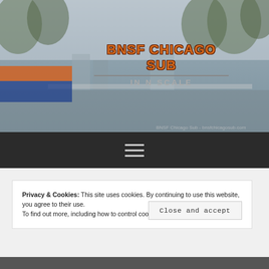[Figure (screenshot): Hero banner with a blurred outdoor/railway scene background showing trees and buildings, with a BNSF locomotive partially visible on the left. Overlaid with the site title BNSF CHICAGO SUB IN N SCALE in orange bold text.]
BNSF CHICAGO SUB
IN N SCALE
[Figure (other): Dark navigation bar with a hamburger menu icon (three horizontal lines) centered.]
Privacy & Cookies: This site uses cookies. By continuing to use this website, you agree to their use.
To find out more, including how to control cookies, see here: Cookie Policy
Close and accept
[Figure (screenshot): Partial bottom strip showing the top edge of another image below the cookie notice.]